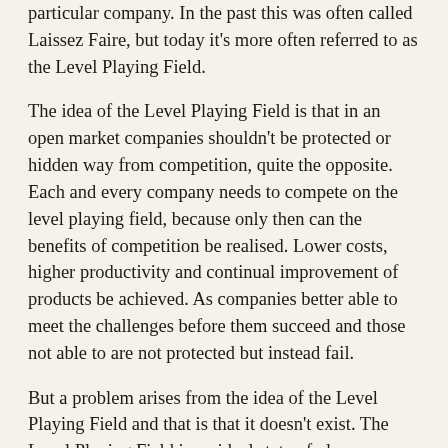particular company. In the past this was often called Laissez Faire, but today it's more often referred to as the Level Playing Field.
The idea of the Level Playing Field is that in an open market companies shouldn't be protected or hidden way from competition, quite the opposite. Each and every company needs to compete on the level playing field, because only then can the benefits of competition be realised. Lower costs, higher productivity and continual improvement of products be achieved. As companies better able to meet the challenges before them succeed and those not able to are not protected but instead fail.
But a problem arises from the idea of the Level Playing Field and that is that it doesn't exist. The Level Playing Field is an ideal state of play, one where the differences between different markets have been sorted out. But of course in reality those differences have not been worked out and it's hard to think of a future were they will have been. The vastly different levels of standards of living mean that we are comparing oranges and apples, not apples and apples. A company that only needs to pay it's workers $10 a day has an enormous advantage over a company that needs to pay it's workers $10 an hour. It has been argued by some that that will force the $10 a day company to increase it's wages to be attractive to workers...